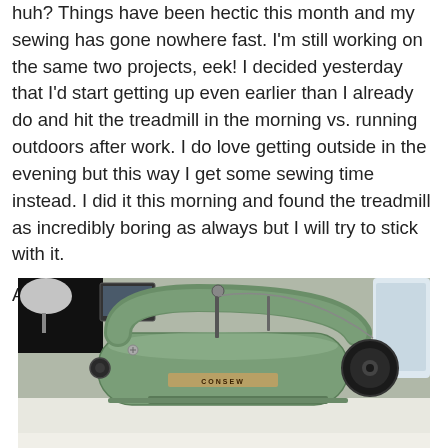huh? Things have been hectic this month and my sewing has gone nowhere fast. I'm still working on the same two projects, eek! I decided yesterday that I'd start getting up even earlier than I already do and hit the treadmill in the morning vs. running outdoors after work. I do love getting outside in the evening but this way I get some sewing time instead. I did it this morning and found the treadmill as incredibly boring as always but I will try to stick with it.
And I almost forgot – I have a new baby!
[Figure (photo): A green vintage Consew sewing machine on a white surface, with a lamp visible in the background upper left and other items in the background.]